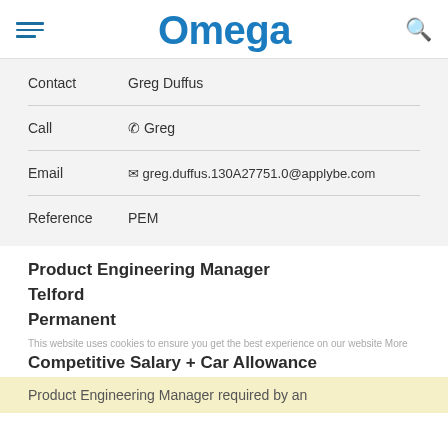Omega
| Contact | Greg Duffus |
| Call | 📞 Greg |
| Email | greg.duffus.130A27751.0@applybe.com |
| Reference | PEM |
Product Engineering Manager
Telford
Permanent
This website uses cookies to ensure you get the best experience on our website More
Competitive Salary + Car Allowance
Product Engineering Manager required by an